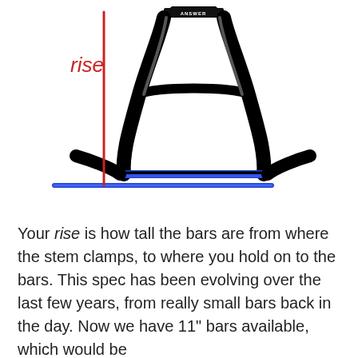[Figure (illustration): A BMX handlebar (Answer branded) shown from the front, with a red vertical line indicating 'rise' measurement and a blue horizontal baseline line. The word 'rise' is labeled in red on the left side.]
Your rise is how tall the bars are from where the stem clamps, to where you hold on to the bars. This spec has been evolving over the last few years, from really small bars back in the day. Now we have 11" bars available, which would be